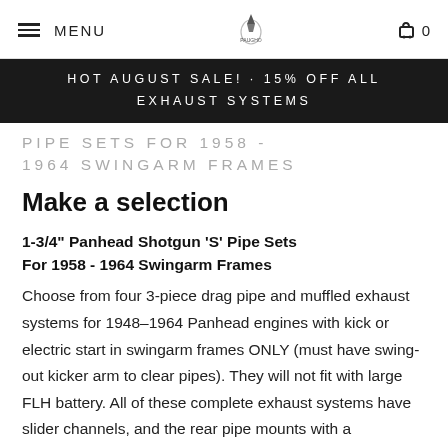MENU | [logo] | 0
HOT AUGUST SALE! · 15% OFF ALL EXHAUST SYSTEMS
PIPE SETS FOR 1958 - 1964 SWINGARM FRAMES
Make a selection
1-3/4" Panhead Shotgun 'S' Pipe Sets For 1958 - 1964 Swingarm Frames
Choose from four 3-piece drag pipe and muffled exhaust systems for 1948–1964 Panhead engines with kick or electric start in swingarm frames ONLY (must have swing-out kicker arm to clear pipes). They will not fit with large FLH battery. All of these complete exhaust systems have slider channels, and the rear pipe mounts with a